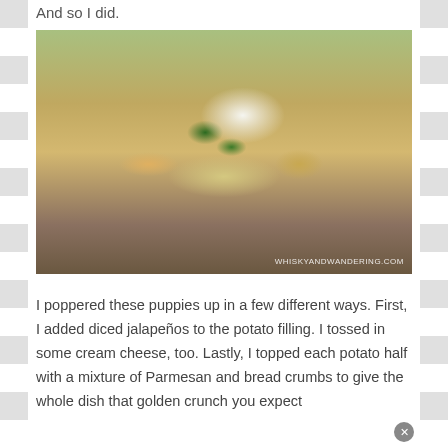And so I did.
[Figure (photo): Close-up photo of twice-baked stuffed potato halves topped with melted cheese, jalapeño slices, sour cream, bacon bits, and a golden breadcrumb crust. Watermark reads WHISKYANDWANDERING.COM]
I poppered these puppies up in a few different ways. First, I added diced jalapeños to the potato filling. I tossed in some cream cheese, too. Lastly, I topped each potato half with a mixture of Parmesan and bread crumbs to give the whole dish that golden crunch you expect